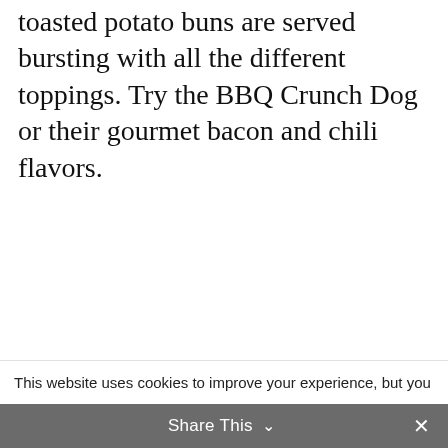toasted potato buns are served bursting with all the different toppings. Try the BBQ Crunch Dog or their gourmet bacon and chili flavors.
[Figure (infographic): Advertisement banner with a monkey/orangutan image on a dark forest green background. Text reads: 'Just $2 can protect 1 acre of irreplaceable forest homes in the Amazon. How many acres will you protect?' with a green 'PROTECT FORESTS NOW' button.]
This website uses cookies to improve your experience, but you
Share This ∨  ✕